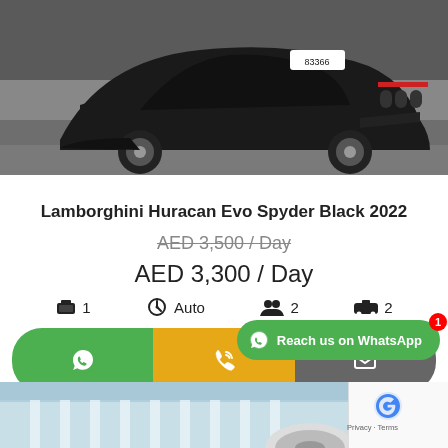[Figure (photo): Top portion of a dark Lamborghini Huracan Evo Spyder in black, shot from the rear, on asphalt. License plate reads 83366.]
Lamborghini Huracan Evo Spyder Black 2022
AED 3,500 / Day (strikethrough original price)
AED 3,300 / Day
🧳 1   🏎 Auto   👥 2   🚗 2
[Figure (screenshot): Three contact buttons: green WhatsApp button, orange phone/call button, grey email button]
Reach us on WhatsApp
[Figure (photo): Bottom portion showing a white architectural structure and car wheel, with reCAPTCHA overlay showing Privacy · Terms]